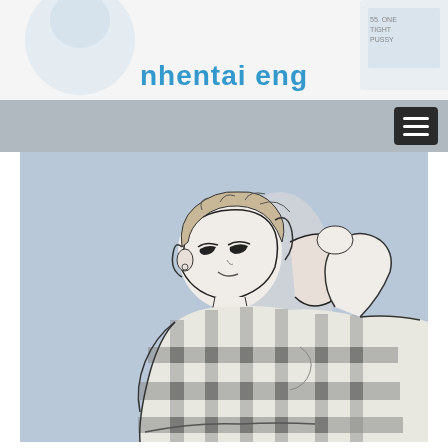[Figure (illustration): Website header banner with partial anime-style illustration visible at top]
nhentai eng
[Figure (screenshot): Navigation bar with hamburger menu button on gray background]
[Figure (illustration): Anime-style pencil sketch illustration of a short-haired female character wearing a plaid/checkered top, posed looking over shoulder, on light blue-gray background]